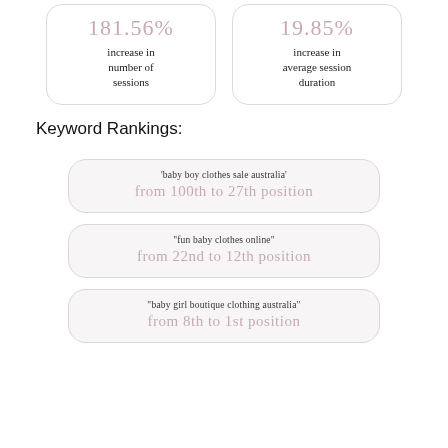181.56%
increase in number of sessions
19.85%
increase in average session duration
Keyword Rankings:
'baby boy clothes sale australia'
from 100th to 27th position
'fun baby clothes online'
from 22nd to 12th position
'baby girl boutique clothing australia'
from 8th to 1st position